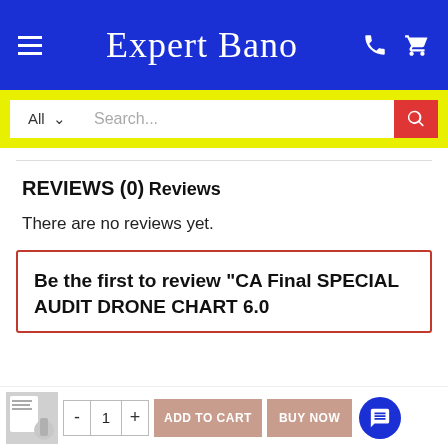Expert Bano
REVIEWS (0)
Reviews
There are no reviews yet.
Be the first to review “CA Final SPECIAL AUDIT DRONE CHART 6.0